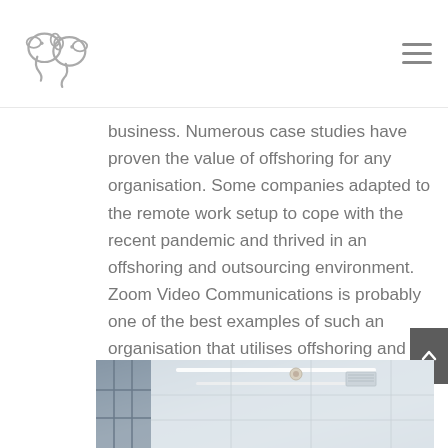[Logo: elephant icon] [Hamburger menu]
business. Numerous case studies have proven the value of offshoring for any organisation. Some companies adapted to the remote work setup to cope with the recent pandemic and thrived in an offshoring and outsourcing environment. Zoom Video Communications is probably one of the best examples of such an organisation that utilises offshoring and outsourcing structure.
[Figure (photo): Interior photo of a modern office space showing large glass windows, ceiling with recessed lighting fixtures and air vents, bright white ceiling panels.]